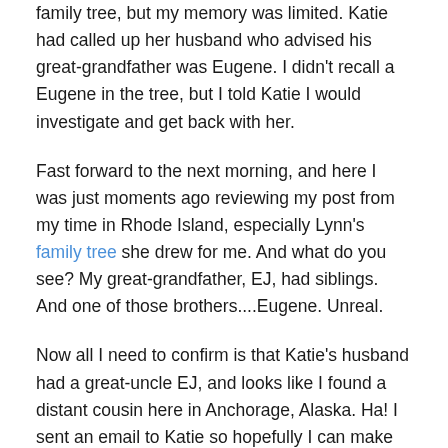family tree, but my memory was limited.  Katie had called up her husband who advised his great-grandfather was Eugene.  I didn't recall a Eugene in the tree, but I told Katie I would investigate and get back with her.
Fast forward to the next morning, and here I was just moments ago reviewing my post from my time in Rhode Island, especially Lynn's family tree she drew for me.  And what do you see?  My great-grandfather, EJ, had siblings.  And one of those brothers....Eugene.  Unreal.
Now all I need to confirm is that Katie's husband had a great-uncle EJ, and looks like I found a distant cousin here in Anchorage, Alaska.  Ha!  I sent an email to Katie so hopefully I can make the confirmation soon.
Now returning to last night, we finished visiting the gift shops and returned to the hotel.  Claire showed me a lot of